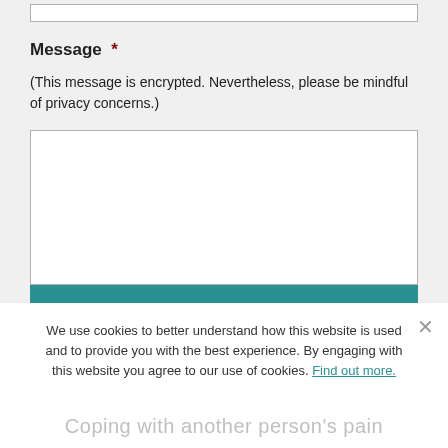Message *
(This message is encrypted. Nevertheless, please be mindful of privacy concerns.)
[Figure (screenshot): Empty text area input field for message]
Submit
We use cookies to better understand how this website is used and to provide you with the best experience. By engaging with this website you agree to our use of cookies. Find out more.
Coping with another person's pain